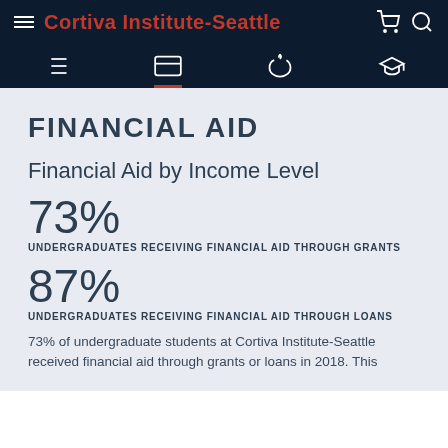Cortiva Institute-Seattle
FINANCIAL AID
Financial Aid by Income Level
73%
UNDERGRADUATES RECEIVING FINANCIAL AID THROUGH GRANTS
87%
UNDERGRADUATES RECEIVING FINANCIAL AID THROUGH LOANS
73% of undergraduate students at Cortiva Institute-Seattle received financial aid through grants or loans in 2018. This